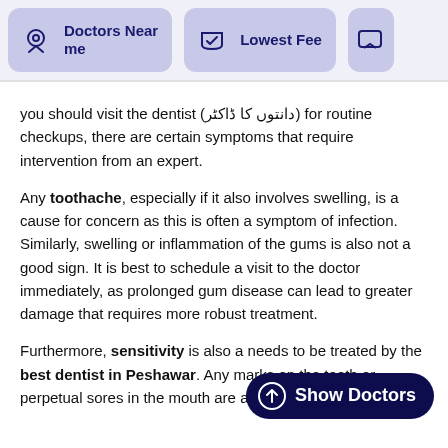Doctors Near me | Lowest Fee
you should visit the dentist (دانتوں کا ڈاکٹر) for routine checkups, there are certain symptoms that require intervention from an expert.
Any toothache, especially if it also involves swelling, is a cause for concern as this is often a symptom of infection. Similarly, swelling or inflammation of the gums is also not a good sign. It is best to schedule a visit to the doctor immediately, as prolonged gum disease can lead to greater damage that requires more robust treatment.
Furthermore, sensitivity is also a … needs to be treated by the best dentist in Peshawar. Any marks on the teeth or perpetual sores in the mouth are also